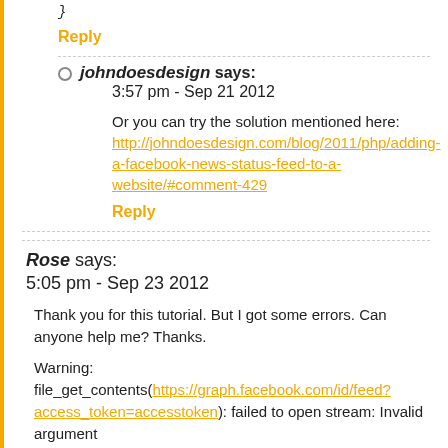}
Reply
johndoesdesign says:
3:57 pm - Sep 21 2012
Or you can try the solution mentioned here:
http://johndoesdesign.com/blog/2011/php/adding-a-facebook-news-status-feed-to-a-website/#comment-429
Reply
Rose says:
5:05 pm - Sep 23 2012
Thank you for this tutorial. But I got some errors. Can anyone help me? Thanks.
Warning: file_get_contents(https://graph.facebook.com/id/feed?access_token=accesstoken): failed to open stream: Invalid argument
Fatal error: Call to undefined function: json_decode()
Reply